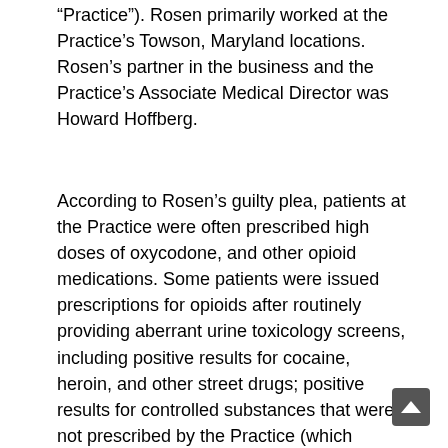“Practice”). Rosen primarily worked at the Practice’s Towson, Maryland locations. Rosen’s partner in the business and the Practice’s Associate Medical Director was Howard Hoffberg.
According to Rosen’s guilty plea, patients at the Practice were often prescribed high doses of oxycodone, and other opioid medications. Some patients were issued prescriptions for opioids after routinely providing aberrant urine toxicology screens, including positive results for cocaine, heroin, and other street drugs; positive results for controlled substances that were not prescribed by the Practice (which indicated the patient was likely buying medications off the street or was doctor-shopping); and/or negative results for the control’ substances prescribed by the Practice (which indicated prescribed substances were either not